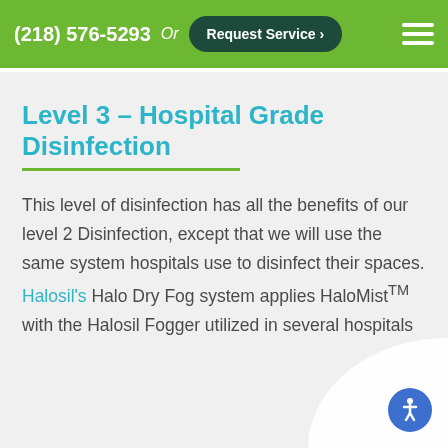(218) 576-5293  Or  Request Service ›
Level 3 – Hospital Grade Disinfection
This level of disinfection has all the benefits of our level 2 Disinfection, except that we will use the same system hospitals use to disinfect their spaces. Halosil's Halo Dry Fog system applies HaloMistTM with the Halosil Fogger utilized in several hospitals